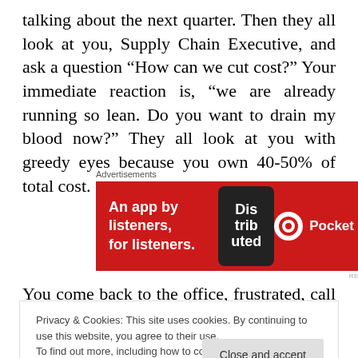talking about the next quarter. Then they all look at you, Supply Chain Executive, and ask a question “How can we cut cost?” Your immediate reaction is, “we are already running so lean. Do you want to drain my blood now?” They all look at you with greedy eyes because you own 40-50% of total cost.
[Figure (other): Pocket Casts advertisement banner: red background with white text 'An app by listeners, for listeners.' and a phone graphic showing 'Distributed' text, plus Pocket Casts logo and name.]
You come back to the office, frustrated, call a meeting with
Privacy & Cookies: This site uses cookies. By continuing to use this website, you agree to their use. To find out more, including how to control cookies, see here: Cookie Policy
price, reduce transportation cost, re-source material,